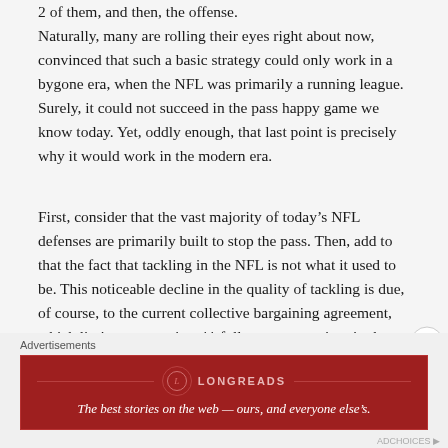Naturally, many are rolling their eyes right about now, convinced that such a basic strategy could only work in a bygone era, when the NFL was primarily a running league. Surely, it could not succeed in the pass happy game we know today. Yet, oddly enough, that last point is precisely why it would work in the modern era.
First, consider that the vast majority of today's NFL defenses are primarily built to stop the pass. Then, add to that the fact that tackling in the NFL is not what it used to be. This noticeable decline in the quality of tackling is due, of course, to the current collective bargaining agreement, which limits teams to just 11 full contact practices in the first 11 weeks of the season, and
Advertisements
[Figure (other): Longreads advertisement banner. Red background with Longreads logo (L in circle) and text: 'The best stories on the web — ours, and everyone else's.']